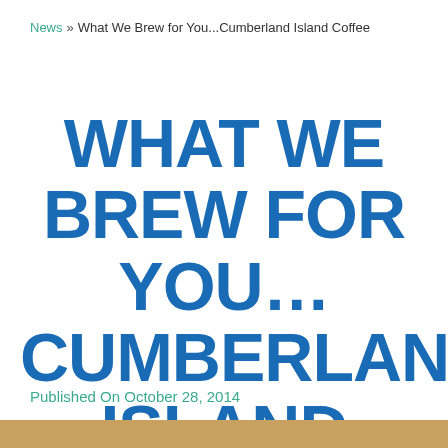News » What We Brew for You...Cumberland Island Coffee
WHAT WE BREW FOR YOU... CUMBERLAND ISLAND COFFEE
Published On October 28, 2014
[Figure (photo): Partial image strip at bottom of page, appears to be a photo of coffee]